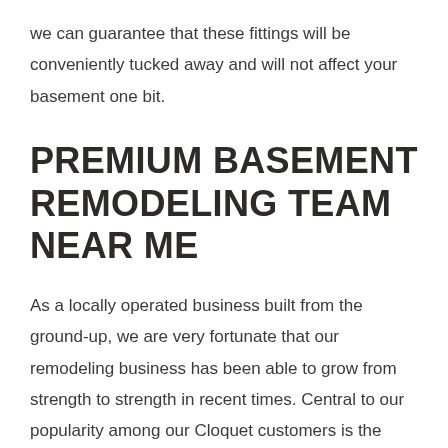we can guarantee that these fittings will be conveniently tucked away and will not affect your basement one bit.
PREMIUM BASEMENT REMODELING TEAM NEAR ME
As a locally operated business built from the ground-up, we are very fortunate that our remodeling business has been able to grow from strength to strength in recent times. Central to our popularity among our Cloquet customers is the client-centered approach to customer service that we offer. Throw in our upfront and